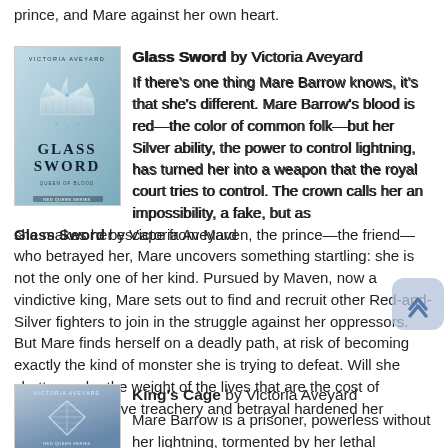prince, and Mare against her own heart.
[Figure (illustration): Book cover of Glass Sword by Victoria Aveyard, showing a crown with the title GLASS SWORD in large letters]
Glass Sword by Victoria Aveyard
If there's one thing Mare Barrow knows, it's that she's different. Mare Barrow's blood is red—the color of common folk—but her Silver ability, the power to control lightning, has turned her into a weapon that the royal court tries to control. The crown calls her an impossibility, a fake, but as she makes her escape from Maven, the prince—the friend—who betrayed her, Mare uncovers something startling: she is not the only one of her kind. Pursued by Maven, now a vindictive king, Mare sets out to find and recruit other Red-and-Silver fighters to join in the struggle against her oppressors. But Mare finds herself on a deadly path, at risk of becoming exactly the kind of monster she is trying to defeat. Will she shatter under the weight of the lives that are the cost of rebellion? Or have treachery and betrayal hardened her forever?
[Figure (illustration): Book cover of King's Cage by Victoria Aveyard]
King's Cage by Victoria Aveyard
Mare Barrow is a prisoner, powerless without her lightning, tormented by her lethal mistakes. She